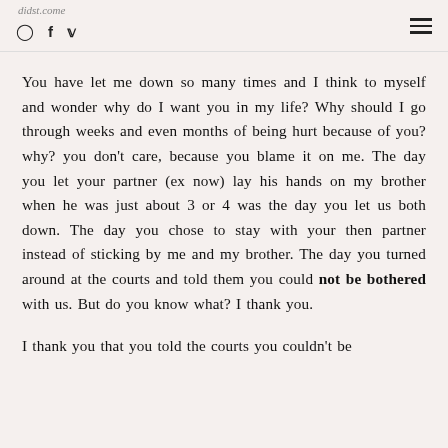didst.com | Instagram, Facebook, Twitter social icons | hamburger menu
You have let me down so many times and I think to myself and wonder why do I want you in my life? Why should I go through weeks and even months of being hurt because of you? why? you don't care, because you blame it on me. The day you let your partner (ex now) lay his hands on my brother when he was just about 3 or 4 was the day you let us both down. The day you chose to stay with your then partner instead of sticking by me and my brother. The day you turned around at the courts and told them you could not be bothered with us. But do you know what? I thank you.
I thank you that you told the courts you couldn't be